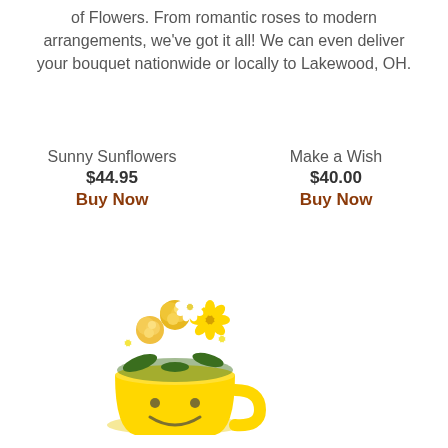of Flowers. From romantic roses to modern arrangements, we've got it all! We can even deliver your bouquet nationwide or locally to Lakewood, OH.
Sunny Sunflowers
$44.95
Buy Now
Make a Wish
$40.00
Buy Now
[Figure (photo): A yellow smiley face mug filled with yellow roses and white and yellow daisies flower arrangement]